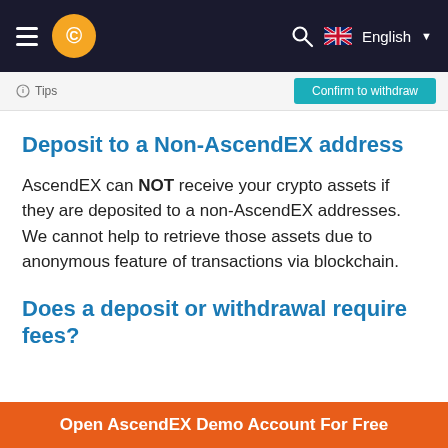AscendEX — English
[Figure (screenshot): Partial UI strip showing Tips label and Confirm to withdraw button]
Deposit to a Non-AscendEX address
AscendEX can NOT receive your crypto assets if they are deposited to a non-AscendEX addresses. We cannot help to retrieve those assets due to anonymous feature of transactions via blockchain.
Does a deposit or withdrawal require fees?
Open AscendEX Demo Account For Free